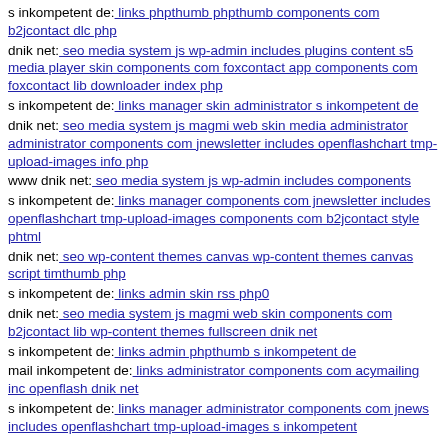s inkompetent de: links phpthumb phpthumb components com b2jcontact dlc php
dnik net: seo media system js wp-admin includes plugins content s5 media player skin components com foxcontact app components com foxcontact lib downloader index php
s inkompetent de: links manager skin administrator s inkompetent de
dnik net: seo media system js magmi web skin media administrator administrator components com jnewsletter includes openflashchart tmp-upload-images info php
www dnik net: seo media system js wp-admin includes components
s inkompetent de: links manager components com jnewsletter includes openflashchart tmp-upload-images components com b2jcontact style phtml
dnik net: seo wp-content themes canvas wp-content themes canvas script timthumb php
s inkompetent de: links admin skin rss php0
dnik net: seo media system js magmi web skin components com b2jcontact lib wp-content themes fullscreen dnik net
s inkompetent de: links admin phpthumb s inkompetent de
mail inkompetent de: links administrator components com acymailing inc openflash dnik net
s inkompetent de: links manager administrator components com jnews includes openflashchart tmp-upload-images s inkompetent